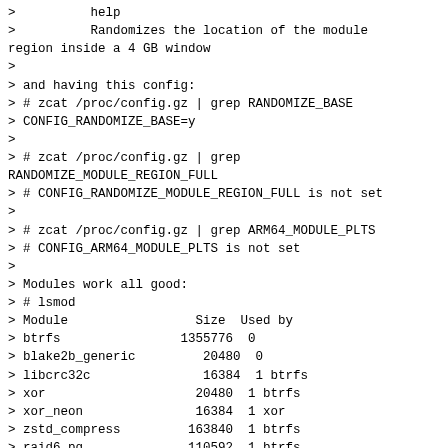>          help
>          Randomizes the location of the module region inside a 4 GB window
>
> and having this config:
> # zcat /proc/config.gz | grep RANDOMIZE_BASE
> CONFIG_RANDOMIZE_BASE=y
>
> # zcat /proc/config.gz | grep
RANDOMIZE_MODULE_REGION_FULL
> # CONFIG_RANDOMIZE_MODULE_REGION_FULL is not set
>
> # zcat /proc/config.gz | grep ARM64_MODULE_PLTS
> # CONFIG_ARM64_MODULE_PLTS is not set
>
> Modules work all good:
> # lsmod
> Module                 Size  Used by
> btrfs                1355776  0
> blake2b_generic         20480  0
> libcrc32c               16384  1 btrfs
> xor                    20480  1 btrfs
> xor_neon               16384  1 xor
> zstd_compress         163840  1 btrfs
> raid6_pq              110592  1 btrfs
> ctr                    16384  0
> md5                    16384  0
> ip_tunnel              32768  0
> ipv6                  442368  28
>